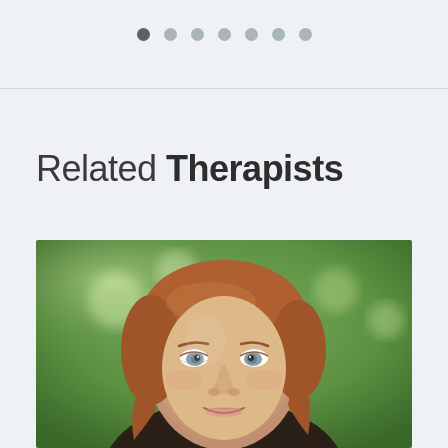[Figure (other): Pagination dots — 7 circles, first one darker (active), remaining 6 lighter gray]
Related Therapists
[Figure (photo): Portrait photo of a woman with auburn/reddish hair, blue-grey eyes, light complexion, slight smile, outdoors with blurred green trees in background]